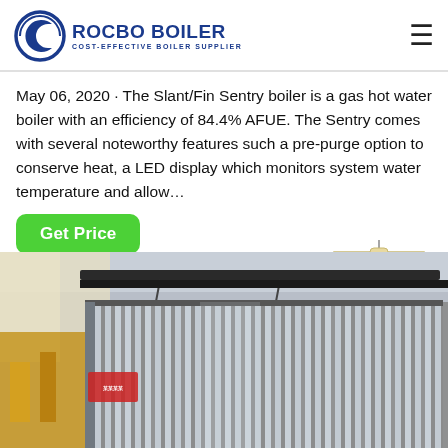ROCBO BOILER — COST-EFFECTIVE BOILER SUPPLIER
May 06, 2020 · The Slant/Fin Sentry boiler is a gas hot water boiler with an efficiency of 84.4% AFUE. The Sentry comes with several noteworthy features such a pre-purge option to conserve heat, a LED display which monitors system water temperature and allow…
Get Price
[Figure (photo): Industrial boiler with corrugated metal cladding in a factory setting. A large rectangular boiler unit with vertical corrugated silver/grey metal panels is visible, with overhead crane/hoist equipment and yellow pipes in the foreground. Interior industrial facility with natural light from the side.]
[Figure (other): 10% DISCOUNT badge — a hanging tag graphic with red bold '10%' text and blue 'DISCOUNT' text on a beige/tan tag background with a string at the top.]